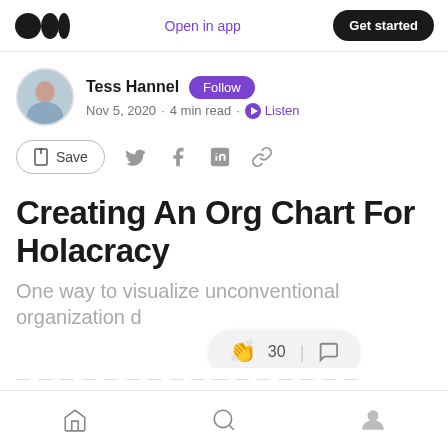Medium logo | Open in app | Get started
Tess Hannel · Follow · Nov 5, 2020 · 4 min read · Listen
Save (social share icons)
Creating An Org Chart For Holacracy
One way to visualize unconventional organization d
30 (clap count) | comment icon
Home | Search | Profile